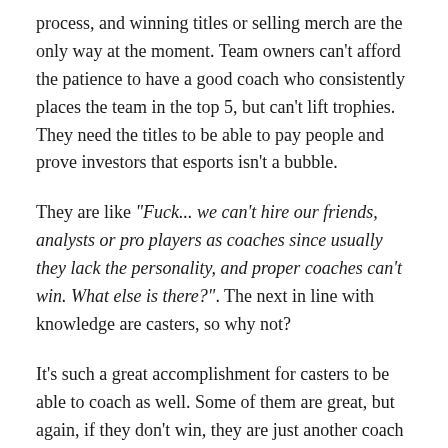process, and winning titles or selling merch are the only way at the moment. Team owners can't afford the patience to have a good coach who consistently places the team in the top 5, but can't lift trophies. They need the titles to be able to pay people and prove investors that esports isn't a bubble.
They are like "Fuck... we can't hire our friends, analysts or pro players as coaches since usually they lack the personality, and proper coaches can't win. What else is there?". The next in line with knowledge are casters, so why not?
It's such a great accomplishment for casters to be able to coach as well. Some of them are great, but again, if they don't win, they are just another coach cleaned by the team.
Elite Managers
The 3%, and mostly not in the West. Given the coaching